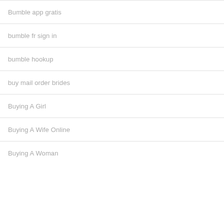Bumble app gratis
bumble fr sign in
bumble hookup
buy mail order brides
Buying A Girl
Buying A Wife Online
Buying A Woman